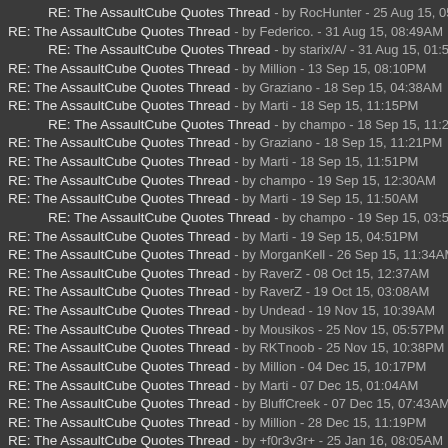RE: The AssaultCube Quotes Thread - by RocHunter - 25 Aug 15, 05:32PM
RE: The AssaultCube Quotes Thread - by Federico. - 31 Aug 15, 08:49AM
RE: The AssaultCube Quotes Thread - by starix/A/ - 31 Aug 15, 01:55PM
RE: The AssaultCube Quotes Thread - by Million - 13 Sep 15, 08:10PM
RE: The AssaultCube Quotes Thread - by Graziano - 18 Sep 15, 04:38AM
RE: The AssaultCube Quotes Thread - by Marti - 18 Sep 15, 11:15PM
RE: The AssaultCube Quotes Thread - by champo - 18 Sep 15, 11:22PM
RE: The AssaultCube Quotes Thread - by Graziano - 18 Sep 15, 11:21PM
RE: The AssaultCube Quotes Thread - by Marti - 18 Sep 15, 11:51PM
RE: The AssaultCube Quotes Thread - by champo - 19 Sep 15, 12:30AM
RE: The AssaultCube Quotes Thread - by Marti - 19 Sep 15, 11:50AM
RE: The AssaultCube Quotes Thread - by champo - 19 Sep 15, 03:55PM
RE: The AssaultCube Quotes Thread - by Marti - 19 Sep 15, 04:51PM
RE: The AssaultCube Quotes Thread - by MorganKell - 26 Sep 15, 11:34AM
RE: The AssaultCube Quotes Thread - by RaverZ - 08 Oct 15, 12:37AM
RE: The AssaultCube Quotes Thread - by RaverZ - 19 Oct 15, 03:08AM
RE: The AssaultCube Quotes Thread - by Undead - 19 Nov 15, 10:39AM
RE: The AssaultCube Quotes Thread - by Mousikos - 25 Nov 15, 05:57PM
RE: The AssaultCube Quotes Thread - by RKTnoob - 25 Nov 15, 10:38PM
RE: The AssaultCube Quotes Thread - by Million - 04 Dec 15, 10:17PM
RE: The AssaultCube Quotes Thread - by Marti - 07 Dec 15, 01:04AM
RE: The AssaultCube Quotes Thread - by BluffCreek - 07 Dec 15, 07:43AM
RE: The AssaultCube Quotes Thread - by Million - 28 Dec 15, 11:19PM
RE: The AssaultCube Quotes Thread - by +f0r3v3r+ - 25 Jan 16, 08:05AM
RE: The AssaultCube Quotes Thread - by DeafieGamer - 26 Jan 16, 09:30A